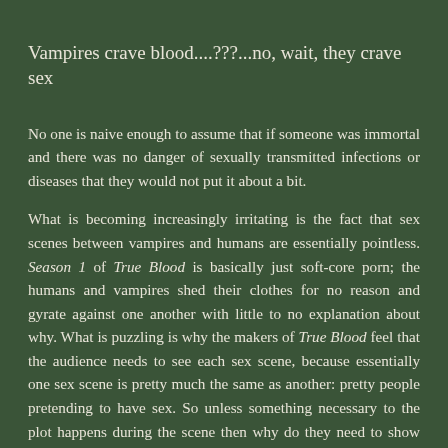Vampires crave blood....???...no, wait, they crave sex
No one is naive enough to assume that if someone was immortal and there was no danger of sexually transmitted infections or diseases that they would not put it about a bit.
What is becoming increasingly irritating is the fact that sex scenes between vampires and humans are essentially pointless. Season 1 of True Blood is basically just soft-core porn; the humans and vampires shed their clothes for no reason and gyrate against one another with little to no explanation about why. What is puzzling is why the makers of True Blood feel that the audience needs to see each sex scene, because essentially one sex scene is pretty much the same as another: pretty people pretending to have sex. So unless something necessary to the plot happens during the scene then why do they need to show the audience so much sex? Why can't the sex just be implied? It seems the answer both questions are that the best way to attract an audience is to show beautiful naked women for the men, and attractive naked men for the ladies.